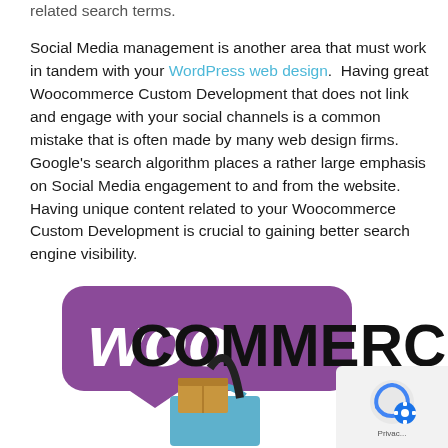related search terms.
Social Media management is another area that must work in tandem with your WordPress web design. Having great Woocommerce Custom Development that does not link and engage with your social channels is a common mistake that is often made by many web design firms. Google's search algorithm places a rather large emphasis on Social Media engagement to and from the website. Having unique content related to your Woocommerce Custom Development is crucial to gaining better search engine visibility.
[Figure (logo): WooCommerce logo with purple speech bubble containing 'woo' in white script and 'COMMERCE' in large black bold text, with a shopping basket and packages below]